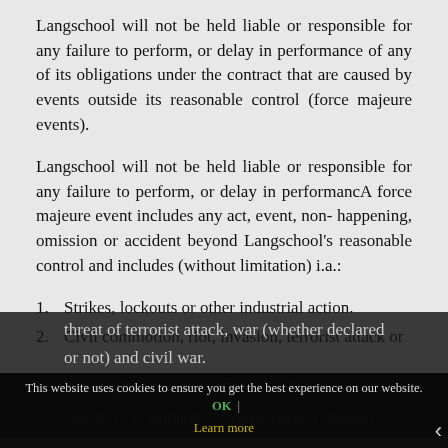Langschool will not be held liable or responsible for any failure to perform, or delay in performance of any of its obligations under the contract that are caused by events outside its reasonable control (force majeure events).
Langschool will not be held liable or responsible for any failure to perform, or delay in performancA force majeure event includes any act, event, non- happening, omission or accident beyond Langschool's reasonable control and includes (without limitation) i.a.:
Strikes, lockouts or other industrial action.
Civil commotion, riot, invasion, terrorist attack or threat of terrorist attack, war (whether declared or not) and civil war.
Fire, explosion, storm, flood, earthquake, subsidence, epidemic or other natural disaster.
This website uses cookies to ensure you get the best experience on our website. OK | Learn more